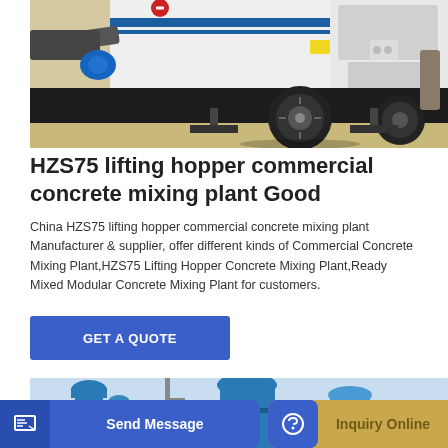[Figure (photo): A white and blue concrete pump truck / mixing vehicle parked on a sandy/concrete surface. The truck has a large black tire visible, blue hose connector, and dark undercarriage.]
HZS75 lifting hopper commercial concrete mixing plant Good
China HZS75 lifting hopper commercial concrete mixing plant Manufacturer & supplier, offer different kinds of Commercial Concrete Mixing Plant,HZS75 Lifting Hopper Concrete Mixing Plant,Ready Mixed Modular Concrete Mixing Plant for customers.
[Figure (photo): Bottom partial photo showing a blue concrete batching plant / silo structure against a light blue sky. The image is partially cropped.]
GET A QUOTE
Send Message
Inquiry Online